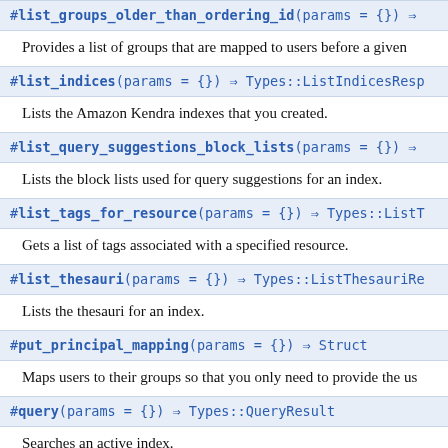#list_groups_older_than_ordering_id(params = {}) ⇒
Provides a list of groups that are mapped to users before a given
#list_indices(params = {}) ⇒ Types::ListIndicesResp
Lists the Amazon Kendra indexes that you created.
#list_query_suggestions_block_lists(params = {}) ⇒
Lists the block lists used for query suggestions for an index.
#list_tags_for_resource(params = {}) ⇒ Types::ListT
Gets a list of tags associated with a specified resource.
#list_thesauri(params = {}) ⇒ Types::ListThesauriRe
Lists the thesauri for an index.
#put_principal_mapping(params = {}) ⇒ Struct
Maps users to their groups so that you only need to provide the us
#query(params = {}) ⇒ Types::QueryResult
Searches an active index.
#start_data_source_sync_job(params = {}) ⇒ Types::S